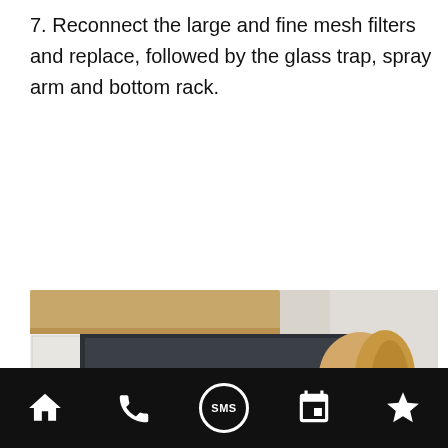7. Reconnect the large and fine mesh filters and replace, followed by the glass trap, spray arm and bottom rack.
[Figure (photo): A woman wearing blue rubber gloves and a blue apron cleaning the inside of an open dishwasher, reaching into the stainless steel interior from the front.]
Navigation bar with icons: home, phone, SMS, calendar, star